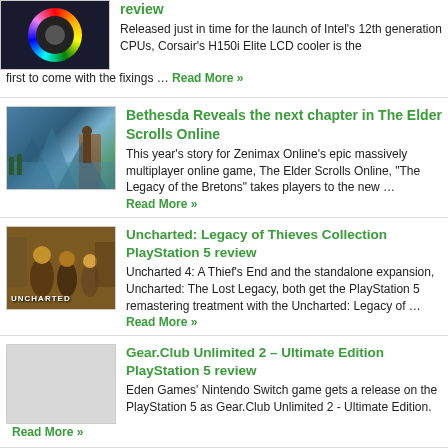[Figure (photo): Thumbnail of Corsair H150i Elite LCD cooler with RGB rainbow ring]
review
Released just in time for the launch of Intel's 12th generation CPUs, Corsair's H150i Elite LCD cooler is the first to come with the fixings … Read More »
[Figure (photo): Thumbnail of Elder Scrolls Online High Isle landscape with warrior figure]
Bethesda Reveals the next chapter in The Elder Scrolls Online
This year's story for Zenimax Online's epic massively multiplayer online game, The Elder Scrolls Online, "The Legacy of the Bretons" takes players to the new … Read More »
[Figure (photo): Thumbnail of Uncharted: Legacy of Thieves Collection key art with characters]
Uncharted: Legacy of Thieves Collection PlayStation 5 review
Uncharted 4: A Thief's End and the standalone expansion, Uncharted: The Lost Legacy, both get the PlayStation 5 remastering treatment with the Uncharted: Legacy of … Read More »
[Figure (photo): Thumbnail placeholder for Gear.Club Unlimited 2 Ultimate Edition]
Gear.Club Unlimited 2 – Ultimate Edition PlayStation 5 review
Eden Games' Nintendo Switch game gets a release on the PlayStation 5 as Gear.Club Unlimited 2 - Ultimate Edition. Read More »
[Figure (photo): Thumbnail placeholder for EPOS H3 Pro Hybrid gaming headset]
EPOS H3 Pro Hybrid gaming headset review